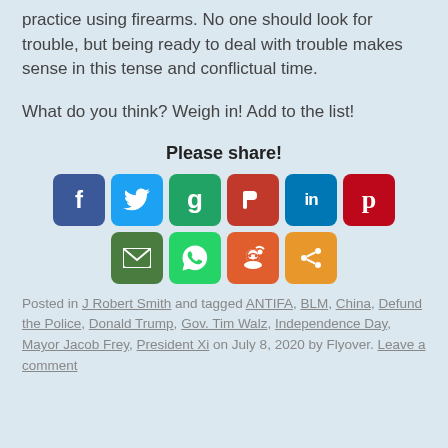practice using firearms. No one should look for trouble, but being ready to deal with trouble makes sense in this tense and conflictual time.
What do you think? Weigh in! Add to the list!
Please share!
[Figure (infographic): Social media share buttons: Facebook, Twitter, Gab, Parler, LinkedIn, Pinterest, Email, WhatsApp, Reddit, Share]
Posted in J Robert Smith and tagged ANTIFA, BLM, China, Defund the Police, Donald Trump, Gov. Tim Walz, Independence Day, Mayor Jacob Frey, President Xi on July 8, 2020 by Flyover. Leave a comment